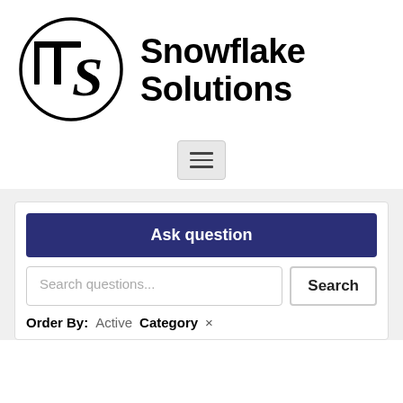[Figure (logo): ITS logo: circle with stylized letters I, T, S inside]
Snowflake Solutions
[Figure (other): Hamburger menu button with three horizontal lines]
Ask question
Search questions...
Search
Order By: Active  Category  x